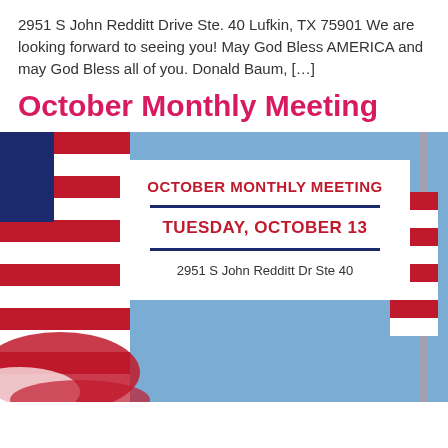2951 S John Redditt Drive Ste. 40 Lufkin, TX 75901 We are looking forward to seeing you! May God Bless AMERICA and may God Bless all of you. Donald Baum, […]
October Monthly Meeting
[Figure (photo): American flag waving against a blue sky background, with a white card overlay showing event details for the October Monthly Meeting on Tuesday, October 13 at 2951 S John Redditt Dr Ste 40]